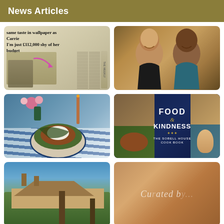News Articles
[Figure (photo): Newspaper clipping with headline: same taste in wallpaper as Carrie I'm just £112,000 shy of her budget]
[Figure (photo): Two women smiling together in a photo, one in black top, one in teal top]
[Figure (photo): Decorative bowl of food on a blue and white patterned plate, with flowers and candles in background]
[Figure (photo): Book cover collage: Food & Kindness - The Sobell House Cook Book, with images of food and people]
[Figure (photo): Exterior photo of a house with trees against blue sky]
[Figure (photo): Partially visible text overlay reading 'Curated by...' over a warm-toned background]